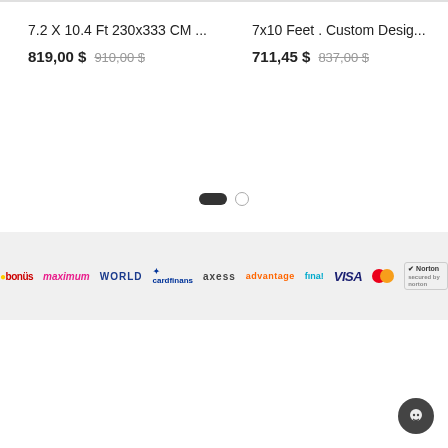7.2 X 10.4 Ft 230x333 CM ...
819,00 $ 910,00 $
7x10 Feet . Custom Desig...
711,45 $ 837,00 $
[Figure (other): Pagination dots: one active (dark pill) and one inactive (circle outline)]
[Figure (other): Payment logos bar containing: bonus, maximum, WORLD, CardFinans, Axess, advantage, enpara, VISA, Mastercard, Norton secured]